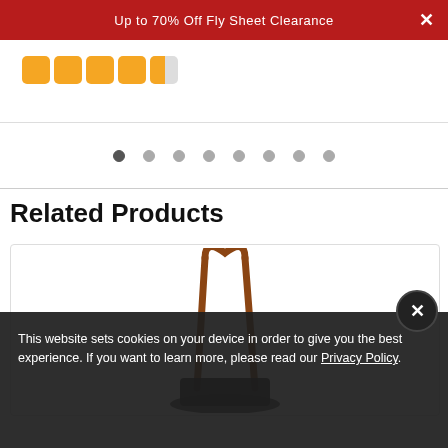Up to 70% Off Fly Sheet Clearance
[Figure (other): Five orange star rating icons in rounded squares, with the fifth star partially filled (approximately half), indicating a rating of about 4.5 stars]
[Figure (other): Carousel pagination dots: first dot filled/dark, remaining seven dots are empty/light gray]
Related Products
[Figure (photo): A brown leather tote bag handle/strap looping upward against a white background, with a dark shadow/base of the bag visible at the bottom]
This website sets cookies on your device in order to give you the best experience. If you want to learn more, please read our Privacy Policy.